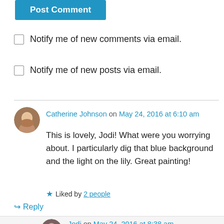[Figure (other): Post Comment button, blue background with white text]
Notify me of new comments via email.
Notify me of new posts via email.
Catherine Johnson on May 24, 2016 at 6:10 am
This is lovely, Jodi! What were you worrying about. I particularly dig that blue background and the light on the lily. Great painting!
Liked by 2 people
Reply
Jodi on May 24, 2016 at 8:38 am